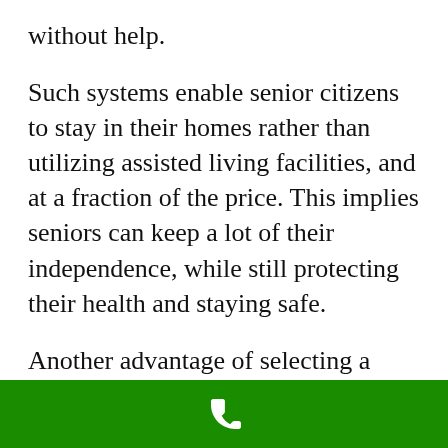without help.
Such systems enable senior citizens to stay in their homes rather than utilizing assisted living facilities, and at a fraction of the price. This implies seniors can keep a lot of their independence, while still protecting their health and staying safe.
Another advantage of selecting a senior tracking system is that it lowers the stress and worry for family and caregivers.
[Figure (illustration): Green bar at the bottom of the page with a white telephone/phone handset icon centered within it.]